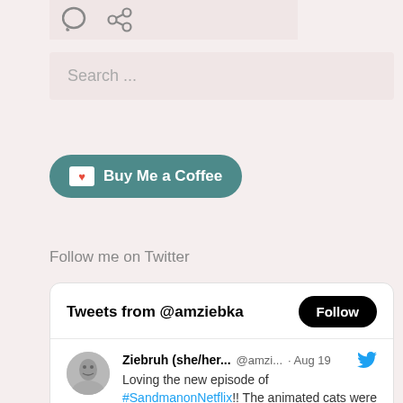[Figure (screenshot): Icon bar with comment bubble and share icons on pink/rose background]
[Figure (screenshot): Search input field with placeholder text 'Search ...' on rose background]
[Figure (screenshot): Buy Me a Coffee button with coffee cup icon, teal rounded pill button]
Follow me on Twitter
[Figure (screenshot): Twitter widget showing 'Tweets from @amziebka' with Follow button and a tweet from Ziebruh (she/her... @amzi... Aug 19) saying 'Loving the new episode of #SandmanonNetflix!! The animated cats were']